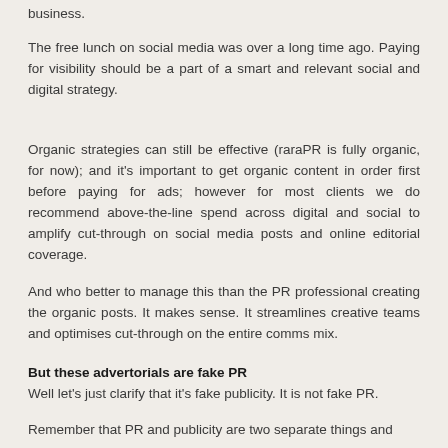business.
The free lunch on social media was over a long time ago. Paying for visibility should be a part of a smart and relevant social and digital strategy.
Organic strategies can still be effective (raraPR is fully organic, for now); and it's important to get organic content in order first before paying for ads; however for most clients we do recommend above-the-line spend across digital and social to amplify cut-through on social media posts and online editorial coverage.
And who better to manage this than the PR professional creating the organic posts. It makes sense. It streamlines creative teams and optimises cut-through on the entire comms mix.
But these advertorials are fake PR
Well let's just clarify that it's fake publicity. It is not fake PR.
Remember that PR and publicity are two separate things and